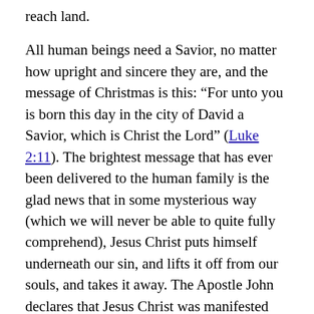reach land.
All human beings need a Savior, no matter how upright and sincere they are, and the message of Christmas is this: “For unto you is born this day in the city of David a Savior, which is Christ the Lord” (Luke 2:11). The brightest message that has ever been delivered to the human family is the glad news that in some mysterious way (which we will never be able to quite fully comprehend), Jesus Christ puts himself underneath our sin, and lifts it off from our souls, and takes it away. The Apostle John declares that Jesus Christ was manifested “to take away our sins” (1 John 3:5). The words “take away” simply mean that He removes the guilt and punishment of sin by paying the price. The angel said to Joseph, “And she shall bring forth a son, and thou shalt call his name Jesus: for he shall save his people from their sins” (Matthew 1:21).
God did not become a man merely to teach us how to